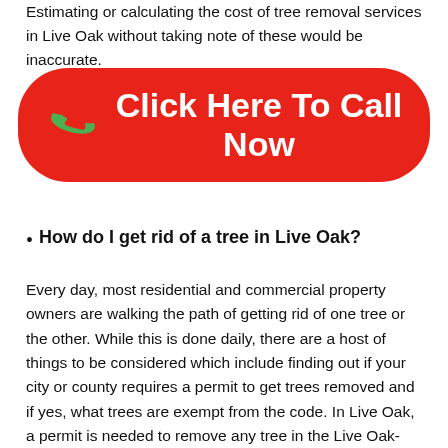Estimating or calculating the cost of tree removal services in Live Oak without taking note of these would be inaccurate.
[Figure (other): Red rounded-rectangle call-to-action button with a green phone icon and the text 'Click Here To Call Now' in white bold font]
How do I get rid of a tree in Live Oak?
Every day, most residential and commercial property owners are walking the path of getting rid of one tree or the other. While this is done daily, there are a host of things to be considered which include finding out if your city or county requires a permit to get trees removed and if yes, what trees are exempt from the code. In Live Oak, a permit is needed to remove any tree in the Live Oak-Dade County. Other things to consider include the cost of getting a certified and experienced tree company to help with your tree removal or tree maintenance projects, and consulting with them if there